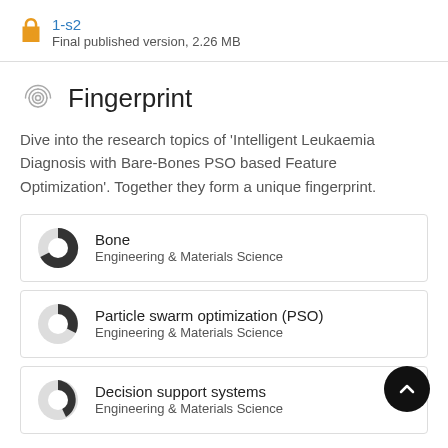1-s2 Final published version, 2.26 MB
Fingerprint
Dive into the research topics of 'Intelligent Leukaemia Diagnosis with Bare-Bones PSO based Feature Optimization'. Together they form a unique fingerprint.
Bone Engineering & Materials Science
Particle swarm optimization (PSO) Engineering & Materials Science
Decision support systems Engineering & Materials Science